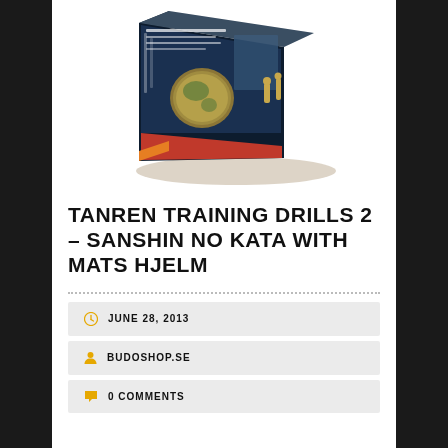[Figure (photo): Product photo of a DVD/Blu-ray box set for 'Tanren Training Drills 2 – Sanshin No Kata with Mats Hjelm', shown at an angle floating above a shadow, with Japanese-themed artwork on the cover.]
TANREN TRAINING DRILLS 2 – SANSHIN NO KATA WITH MATS HJELM
JUNE 28, 2013
BUDOSHOP.SE
0 COMMENTS